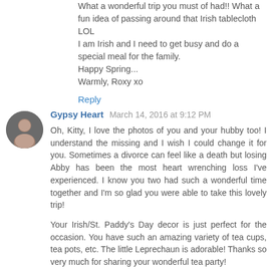What a wonderful trip you must of had!! What a fun idea of passing around that Irish tablecloth LOL
I am Irish and I need to get busy and do a special meal for the family.
Happy Spring...
Warmly, Roxy xo
Reply
Gypsy Heart  March 14, 2016 at 9:12 PM
Oh, Kitty, I love the photos of you and your hubby too! I understand the missing and I wish I could change it for you. Sometimes a divorce can feel like a death but losing Abby has been the most heart wrenching loss I've experienced. I know you two had such a wonderful time together and I'm so glad you were able to take this lovely trip!

Your Irish/St. Paddy's Day decor is just perfect for the occasion. You have such an amazing variety of tea cups, tea pots, etc. The little Leprechaun is adorable! Thanks so very much for sharing your wonderful tea party!